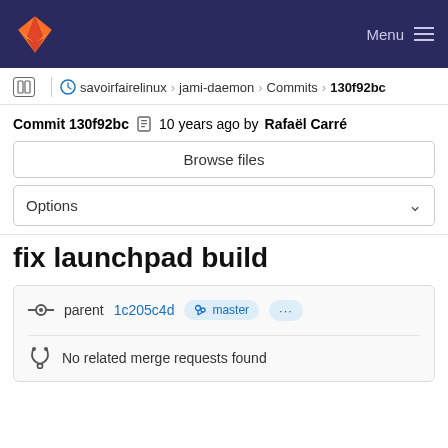GitLab navigation bar with logo and Menu
savoirfairelinux > jami-daemon > Commits > 130f92bc
Commit 130f92bc  10 years ago by Rafaël Carré
Browse files
Options
fix launchpad build
parent 1c205c4d  master  ...
No related merge requests found